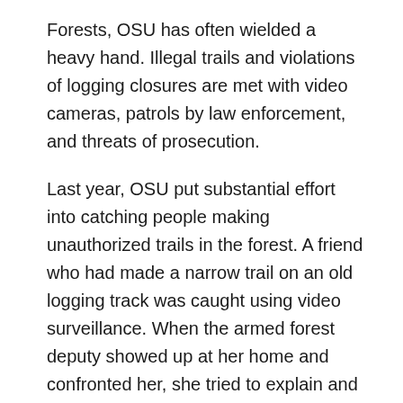Forests, OSU has often wielded a heavy hand. Illegal trails and violations of logging closures are met with video cameras, patrols by law enforcement, and threats of prosecution.
Last year, OSU put substantial effort into catching people making unauthorized trails in the forest. A friend who had made a narrow trail on an old logging track was caught using video surveillance. When the armed forest deputy showed up at her home and confronted her, she tried to explain and defend her actions. The trail allowed neighbors to avoid walking on a road with limited visibility. She had called OSU to make sure her trail wouldn't jeopardize any research projects. She told him she had built trails for the Forest Service for many years and had been careful to